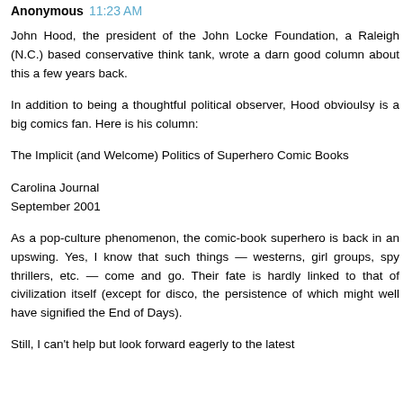Anonymous 11:23 AM
John Hood, the president of the John Locke Foundation, a Raleigh (N.C.) based conservative think tank, wrote a darn good column about this a few years back.
In addition to being a thoughtful political observer, Hood obvioulsy is a big comics fan. Here is his column:
The Implicit (and Welcome) Politics of Superhero Comic Books
Carolina Journal
September 2001
As a pop-culture phenomenon, the comic-book superhero is back in an upswing. Yes, I know that such things — westerns, girl groups, spy thrillers, etc. — come and go. Their fate is hardly linked to that of civilization itself (except for disco, the persistence of which might well have signified the End of Days).
Still, I can't help but look forward eagerly to the latest